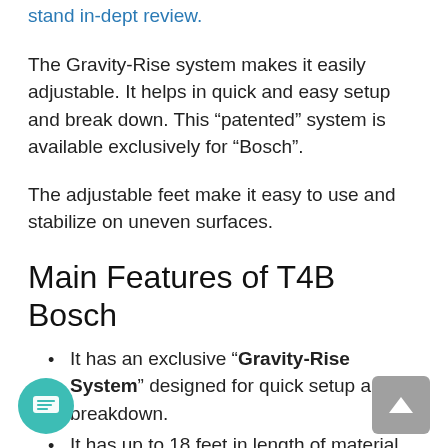stand in-dept review.
The Gravity-Rise system makes it easily adjustable. It helps in quick and easy setup and break down. This “patented” system is available exclusively for “Bosch”.
The adjustable feet make it easy to use and stabilize on uneven surfaces.
Main Features of T4B Bosch
It has an exclusive “Gravity-Rise System” designed for quick setup and breakdown.
It has up to 18 feet in length of material supports capacity. I.e. No other portable miter saw stand has this